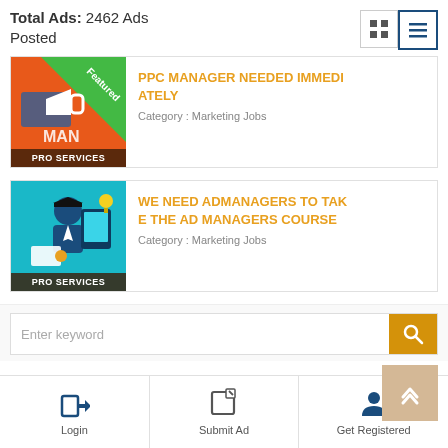Total Ads: 2462 Ads Posted
[Figure (screenshot): First ad listing: PPC MANAGER NEEDED IMMEDIATELY - Category: Marketing Jobs, with Featured badge and PRO SERVICES label on orange thumbnail]
PPC MANAGER NEEDED IMMEDIATELY
Category : Marketing Jobs
[Figure (screenshot): Second ad listing: WE NEED ADMANAGERS TO TAKE THE AD MANAGERS COURSE - Category: Marketing Jobs, with PRO SERVICES label on teal thumbnail]
WE NEED ADMANAGERS TO TAKE THE AD MANAGERS COURSE
Category : Marketing Jobs
Enter keyword
Login | Submit Ad | Get Registered